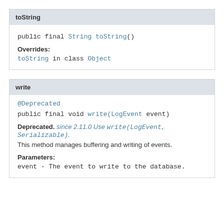toString
public final String toString()
Overrides:
toString in class Object
write
@Deprecated
public final void write(LogEvent event)
Deprecated. since 2.11.0 Use write(LogEvent, Serializable).
This method manages buffering and writing of events.
Parameters:
event - The event to write to the database.